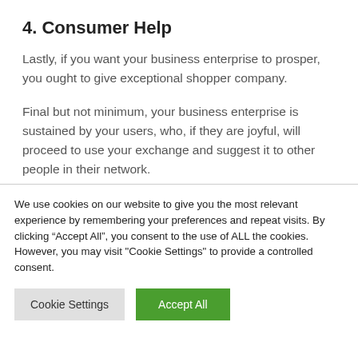4. Consumer Help
Lastly, if you want your business enterprise to prosper, you ought to give exceptional shopper company.
Final but not minimum, your business enterprise is sustained by your users, who, if they are joyful, will proceed to use your exchange and suggest it to other people in their network.
See also  Can the Manicure be replaced for absolutely
We use cookies on our website to give you the most relevant experience by remembering your preferences and repeat visits. By clicking “Accept All”, you consent to the use of ALL the cookies. However, you may visit "Cookie Settings" to provide a controlled consent.
Cookie Settings | Accept All